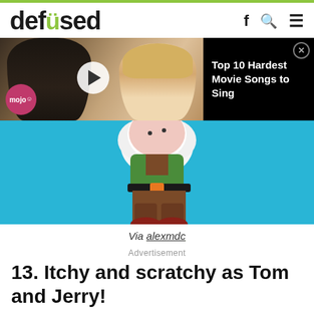defused
[Figure (screenshot): Video player overlay showing a couple from a movie/show, with a play button, mojo badge, and a dark panel reading 'Top 10 Hardest Movie Songs to Sing' with a close button]
[Figure (illustration): Cartoon illustration of a character (Itchy or Scratchy) on a light blue background, showing torso with green jacket, black belt with orange buckle, and brown legs/feet]
Via alexmdc
Advertisement
13. Itchy and scratchy as Tom and Jerry!